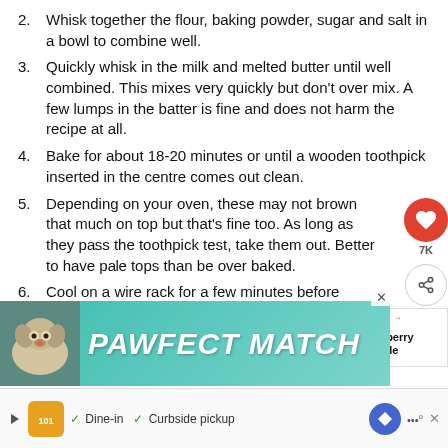2. Whisk together the flour, baking powder, sugar and salt in a bowl to combine well.
3. Quickly whisk in the milk and melted butter until well combined. This mixes very quickly but don't over mix. A few lumps in the batter is fine and does not harm the recipe at all.
4. Bake for about 18-20 minutes or until a wooden toothpick inserted in the centre comes out clean.
5. Depending on your oven, these may not brown that much on top but that's fine too. As long as they pass the toothpick test, take them out. Better to have pale tops than be over baked.
6. Cool on a wire rack for a few minutes before serving.
[Figure (screenshot): Social share overlay with heart icon (7K likes) and share button on the right side]
[Figure (screenshot): What's Next panel showing Blueberry Buckle with thumbnail image]
[Figure (advertisement): PAWFECT MATCH advertisement banner with dog image on teal/turquoise background]
[Figure (advertisement): Bottom ad strip with restaurant listing showing Dine-in and Curbside pickup options]